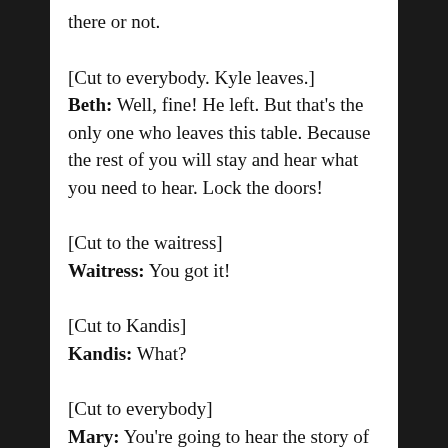there or not.
[Cut to everybody. Kyle leaves.]
Beth: Well, fine! He left. But that's the only one who leaves this table. Because the rest of you will stay and hear what you need to hear. Lock the doors!
[Cut to the waitress]
Waitress: You got it!
[Cut to Kandis]
Kandis: What?
[Cut to everybody]
Mary: You're going to hear the story of